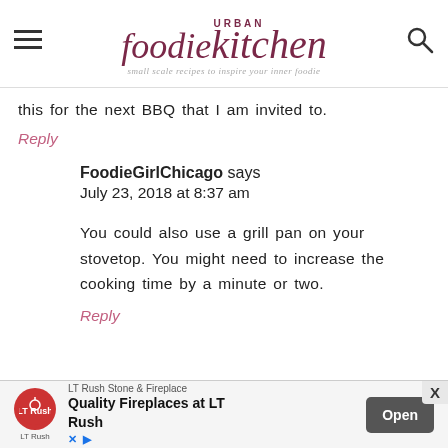URBAN foodie kitchen — small scale recipes to inspire your inner foodie
this for the next BBQ that I am invited to.
Reply
FoodieGirlChicago says
July 23, 2018 at 8:37 am
You could also use a grill pan on your stovetop. You might need to increase the cooking time by a minute or two.
Reply
LT Rush Stone & Fireplace
Quality Fireplaces at LT Rush
Open